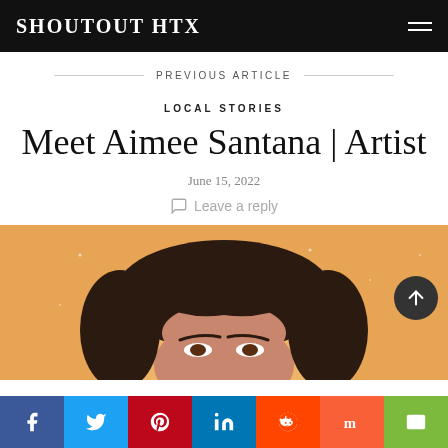SHOUTOUT HTX
PREVIOUS ARTICLE
LOCAL STORIES
Meet Aimee Santana | Artist
June 15, 2022
Leave a reply
[Figure (illustration): Illustrated portrait of a woman with dark hair on an orange/golden background with sparkles, cropped to show top of head and eyes]
Social share buttons: Facebook, Twitter, Pinterest, LinkedIn, Reddit, Mix, Email